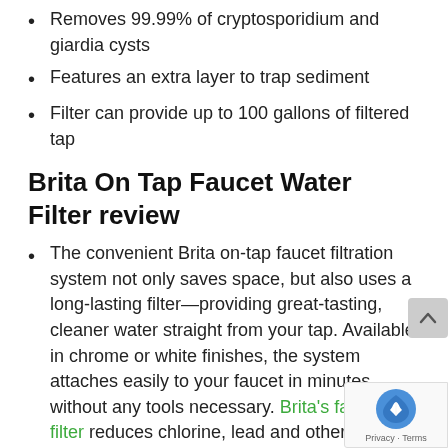Removes 99.99% of cryptosporidium and giardia cysts
Features an extra layer to trap sediment
Filter can provide up to 100 gallons of filtered tap
Brita On Tap Faucet Water Filter review
The convenient Brita on-tap faucet filtration system not only saves space, but also uses a long-lasting filter—providing great-tasting, cleaner water straight from your tap. Available in chrome or white finishes, the system attaches easily to your faucet in minutes without any tools necessary. Brita's faucet filter reduces chlorine, lead and other impurities from your kitchen spout.
Brita Basic On Tap Faucet Water Filter System attaches directly to your tap. This easy and convenient water filtration system reduces chlorine taste and odor, lead and